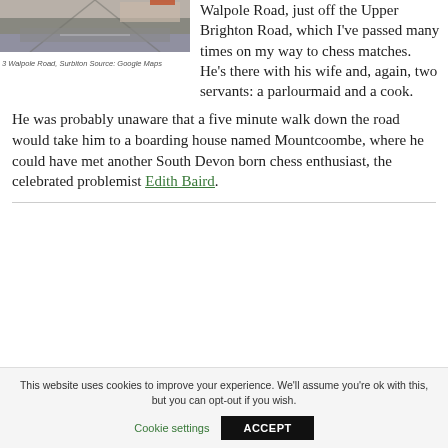[Figure (photo): Street view photo of 3 Walpole Road, Surbiton from Google Maps showing a road and building]
3 Walpole Road, Surbiton Source: Google Maps
Walpole Road, just off the Upper Brighton Road, which I've passed many times on my way to chess matches. He's there with his wife and, again, two servants: a parlourmaid and a cook.
He was probably unaware that a five minute walk down the road would take him to a boarding house named Mountcoombe, where he could have met another South Devon born chess enthusiast, the celebrated problemist Edith Baird.
This website uses cookies to improve your experience. We'll assume you're ok with this, but you can opt-out if you wish.
Cookie settings  ACCEPT